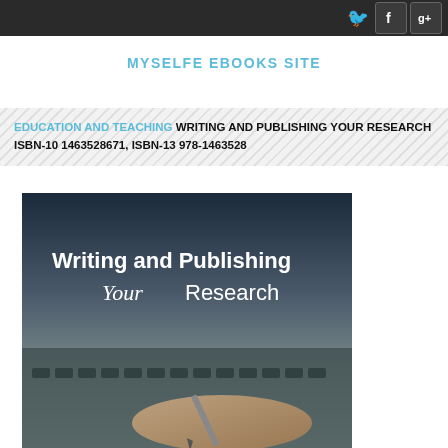MYSELFE EBOOKS SITE — nav bar with Twitter, Facebook, Google+
MYSELFE EBOOKS SITE
EDUCATION AND TEACHING WRITING AND PUBLISHING YOUR RESEARCH ISBN-10 1463528671, ISBN-13 978-1463528
[Figure (photo): Book cover image showing 'Writing and Publishing Your Research' with a hand holding a pen over a keyboard, dark blurred background]